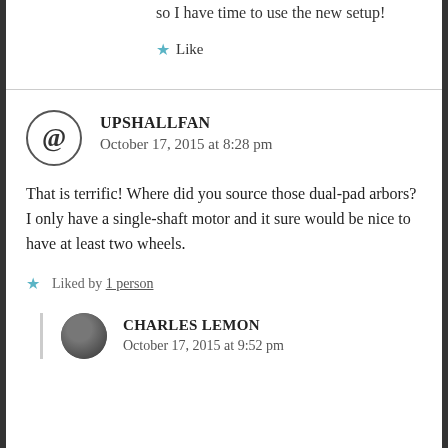so I have time to use the new setup!
★ Like
UPSHALLFAN
October 17, 2015 at 8:28 pm
That is terrific! Where did you source those dual-pad arbors? I only have a single-shaft motor and it sure would be nice to have at least two wheels.
★ Liked by 1 person
CHARLES LEMON
October 17, 2015 at 9:52 pm